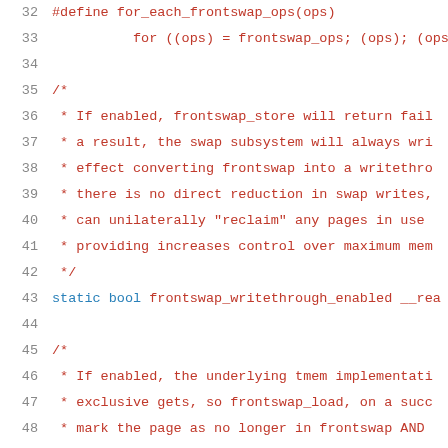Source code listing lines 32-52, C language, showing frontswap kernel module code including macro definitions, comments, and static bool declarations.